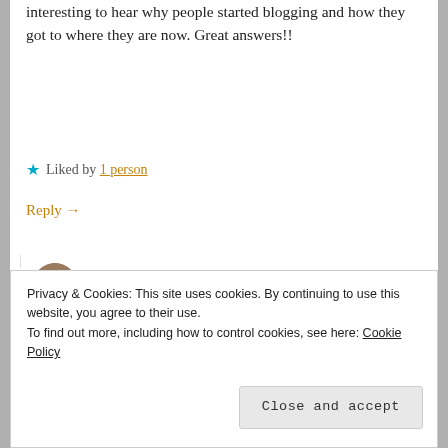interesting to hear why people started blogging and how they got to where they are now. Great answers!!
★ Liked by 1 person
Reply →
GEMMAORTON
March 19, 2018 at 9:36 pm
I love finding out more about a blogger and why they blog 😊
Privacy & Cookies: This site uses cookies. By continuing to use this website, you agree to their use.
To find out more, including how to control cookies, see here: Cookie Policy
Close and accept